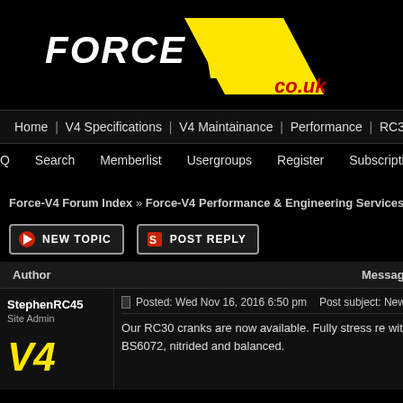[Figure (logo): Force V4 co.uk logo — white FORCE text and yellow V4 stylized graphic with red co.uk text on black background]
Home | V4 Specifications | V4 Maintainance | Performance | RC30 & RC45 Tuning |
FAQ   Search   Memberlist   Usergroups   Register   Subscription
Force-V4 Forum Index » Force-V4 Performance & Engineering Services » New RC3
[Figure (other): NEW TOPIC button with red icon]
[Figure (other): POST REPLY button with red icon]
| Author | Message |
| --- | --- |
| StephenRC45
Site Admin
[V4 logo] | Posted: Wed Nov 16, 2016 6:50 pm   Post subject: New R
Our RC30 cranks are now available. Fully stress re with BS6072, nitrided and balanced. |
Our RC30 cranks are now available. Fully stress re with BS6072, nitrided and balanced.